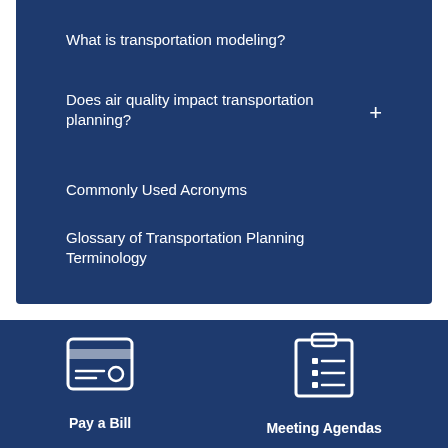What is transportation modeling?
Does air quality impact transportation planning?
Commonly Used Acronyms
Glossary of Transportation Planning Terminology
[Figure (illustration): White icon of a credit card / payment terminal on dark blue background, labeled 'Pay a Bill']
Pay a Bill
[Figure (illustration): White icon of a clipboard with checklist on dark blue background, labeled 'Meeting Agendas']
Meeting Agendas